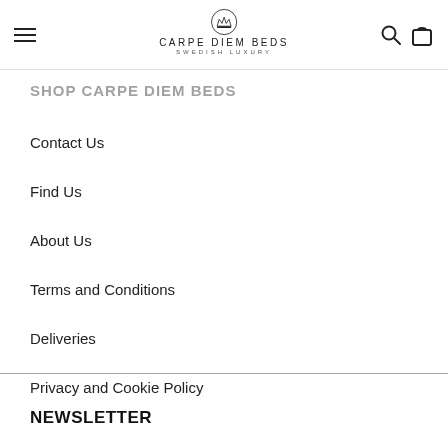CARPE DIEM BEDS – SWEDISH LUXURY
SHOP CARPE DIEM BEDS
Contact Us
Find Us
About Us
Terms and Conditions
Deliveries
Privacy and Cookie Policy
NEWSLETTER